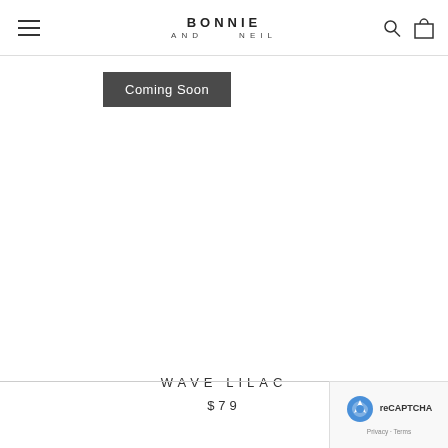BONNIE AND NEIL
Coming Soon
WAVE LILAC
$79